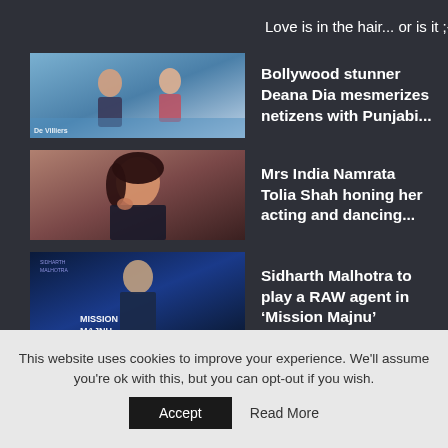Love is in the hair... or is it ;-)
Bollywood stunner Deana Dia mesmerizes netizens with Punjabi...
Mrs India Namrata Tolia Shah honing her acting and dancing...
Sidharth Malhotra to play a RAW agent in ‘Mission Majnu’
This website uses cookies to improve your experience. We'll assume you're ok with this, but you can opt-out if you wish.